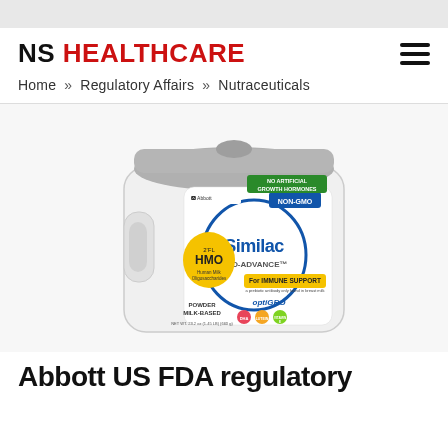NS HEALTHCARE
Home » Regulatory Affairs » Nutraceuticals
[Figure (photo): Similac Pro-Advance HMO infant formula powder tub by Abbott. White container with gray lid. Label shows: NON-GMO, NO ARTIFICIAL GROWTH HORMONES, HMO (Human Milk Oligosaccharides), PRO-ADVANCE, FOR IMMUNE SUPPORT, optiGRO, POWDER MILK-BASED, NET WT. 23.2 oz (1.45 LB) (660g). Colored circles for DHA, LUTEIN, and VITAMIN E.]
Abbott US FDA regulatory